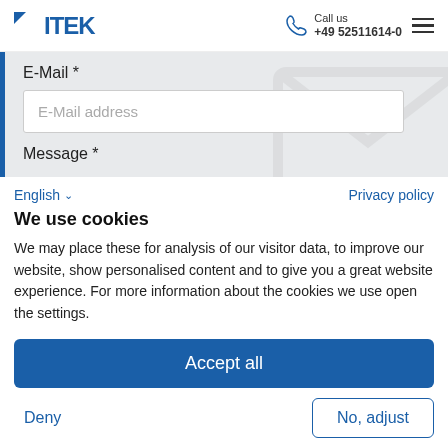VITEK | Call us +49 52511614-0
E-Mail *
E-Mail address
Message *
English ∨
Privacy policy
We use cookies
We may place these for analysis of our visitor data, to improve our website, show personalised content and to give you a great website experience. For more information about the cookies we use open the settings.
Accept all
Deny
No, adjust